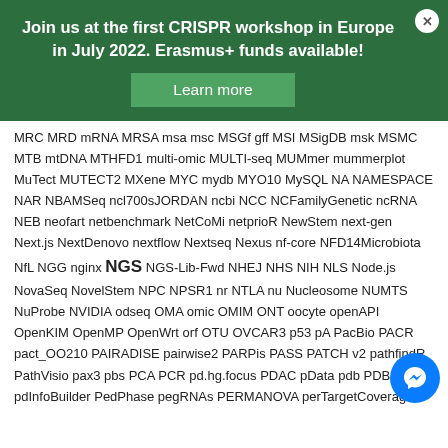Join us at the first CRISPR workshop in Europe in July 2022. Erasmus+ funds available!
Learn more
MRC MRD mRNA MRSA msa msc MSGf gff MSI MSigDB msk MSMC MTB mtDNA MTHFD1 multi-omic MULTI-seq MUMmer mummerplot MuTect MUTECT2 MXene MYC mydb MYO10 MySQL NA NAMESPACE NAR NBAMSeq ncl700sJORDAN ncbi NCC NCFamilyGenetic ncRNA NEB neofart netbenchmark NetCoMi netprioR NewStem next-gen Next.js NextDenovo nextflow Nextseq Nexus nf-core NFD14Microbiota NfL NGG nginx NGS NGS-Lib-Fwd NHEJ NHS NIH NLS Node.js NovaSeq NovelStem NPC NPSR1 nr NTLA nu Nucleosome NUMTS NuProbe NVIDIA odseq OMA omic OMIM ONT oocyte openAPI OpenKIM OpenMP OpenWrt orf OTU OVCAR3 p53 pA PacBio PACR pact_OO210 PAIRADISE pairwise2 PARPis PASS PATCH v2 pathfindR PathVisio pax3 pbs PCA PCR pd.hg.focus PDAC pData pdb PDBE pdInfoBuilder PedPhase pegRNAs PERMANOVA perTargetCoverage Pfam pgdx PGGB PGS phase_trio.sh phastConsElements phd pheatmap phenix Phoenix PHRED phyloseq Phylum PI3 picard PICS PIK3CA PIM Pindel platypus plink plotMA POLG1 polyphen2 PopGenome popmax PostgreSQL PowerBI PPI ppinfer pre-IPO PredicineCARE primer3 PrognomiO Promethease PROPER-seq ProteoDisco